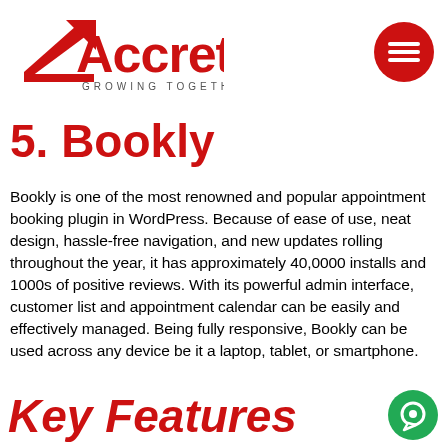[Figure (logo): Accrete logo with red arrow and text 'GROWING TOGETHER...' below]
[Figure (illustration): Red circle with white hamburger menu icon (three horizontal lines)]
5. Bookly
Bookly is one of the most renowned and popular appointment booking plugin in WordPress. Because of ease of use, neat design, hassle-free navigation, and new updates rolling throughout the year, it has approximately 40,0000 installs and 1000s of positive reviews. With its powerful admin interface, customer list and appointment calendar can be easily and effectively managed. Being fully responsive, Bookly can be used across any device be it a laptop, tablet, or smartphone.
Key Features
[Figure (illustration): Green circle with white chat bubble icon at bottom right]